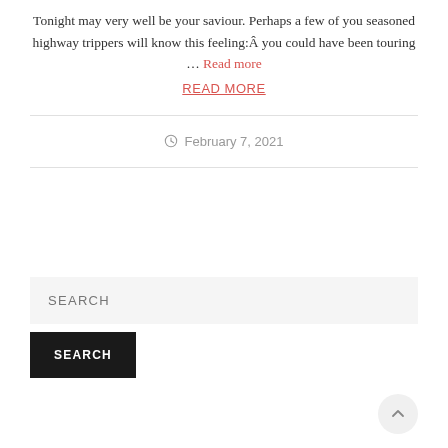Tonight may very well be your saviour. Perhaps a few of you seasoned highway trippers will know this feeling: you could have been touring … Read more
READ MORE
February 7, 2021
SEARCH (input placeholder)
SEARCH (button)